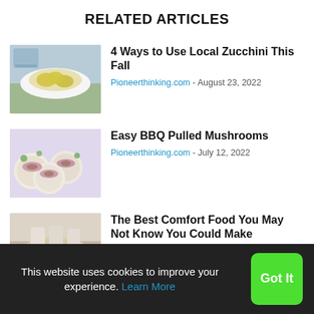RELATED ARTICLES
[Figure (photo): Photo of sliced zucchini chips in a white bowl]
4 Ways to Use Local Zucchini This Fall
Pioneerthinking.com - August 23, 2022
[Figure (photo): Photo of BBQ pulled mushroom sliders on a white surface]
Easy BBQ Pulled Mushrooms
Pioneerthinking.com - July 12, 2022
[Figure (photo): Photo of a comfort food dish, partially visible]
The Best Comfort Food You May Not Know You Could Make
This website uses cookies to improve your experience. Learn More